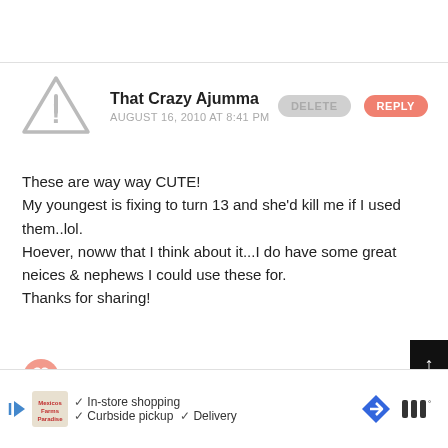That Crazy Ajumma
AUGUST 16, 2010 AT 8:41 PM
These are way way CUTE!
My youngest is fixing to turn 13 and she'd kill me if I used them..lol.
Hoever, noww that I think about it...I do have some great neices & nephews I could use these for.
Thanks for sharing!
WHAT'S NEXT →
FREE Nemo Inspired Bac...